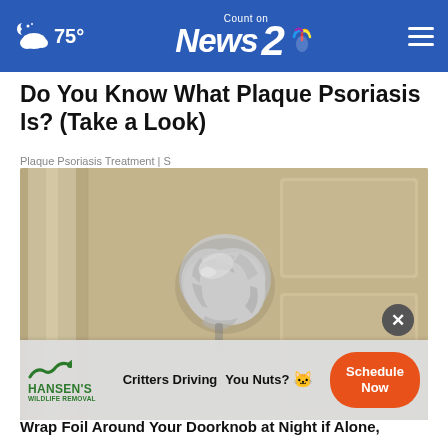75° | Count on News 2 NBC
Do You Know What Plaque Psoriasis Is? (Take a Look)
Plaque Psoriasis Treatment | S
[Figure (photo): A door knob wrapped in aluminum foil, close-up shot against a wooden door background]
Wrap Foil Around Your Doorknob at Night if Alone,